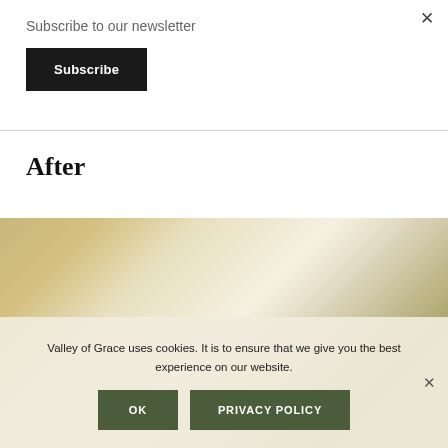×
Subscribe to our newsletter
Subscribe
After
[Figure (photo): Close-up photo of woven baskets and golden/yellow boxes on a light background]
Valley of Grace uses cookies. It is to ensure that we give you the best experience on our website.
OK
PRIVACY POLICY
×